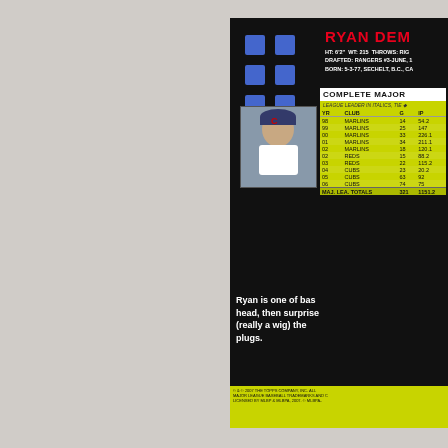RYAN DEM
HT: 6'2"  WT: 215  THROWS: RIG
DRAFTED: RANGERS #3-JUNE, 1
BORN: 5-3-77, SECHELT, B.C., CA
COMPLETE MAJOR
LEAGUE LEADER IN ITALICS, TIE ◆
| YR | CLUB | G | IP |
| --- | --- | --- | --- |
| 98 | MARLINS | 14 | 54.2 |
| 99 | MARLINS | 25 | 147 |
| 00 | MARLINS | 33 | 226.1 |
| 01 | MARLINS | 34 | 211.1 |
| 02 | MARLINS | 18 | 120.1 |
| 02 | REDS | 15 | 88.2 |
| 03 | REDS | 22 | 115.2 |
| 04 | CUBS | 23 | 20.2 |
| 05 | CUBS | 63 | 92 |
| 06 | CUBS | 74 | 75 |
| MAJ. LEA. TOTALS |  | 321 | 1151.2 |
Ryan is one of bas head, then surprise (really a wig) the plugs.
© & © 2007 THE TOPPS COMPANY, INC. ALL MAJOR LEAGUE BASEBALL TRADEMARKS AND C LICENSED BY MLBP & MLBPA, 2007. © MLBPA-